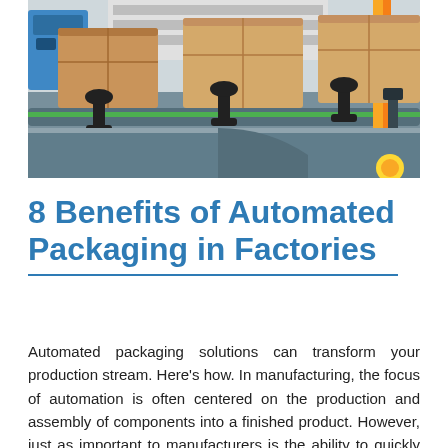[Figure (photo): Cardboard boxes on an industrial conveyor belt in a factory/warehouse setting, with mechanical guide arms and green conveyor rails visible.]
8 Benefits of Automated Packaging in Factories
Automated packaging solutions can transform your production stream. Here's how. In manufacturing, the focus of automation is often centered on the production and assembly of components into a finished product. However, just as important to manufacturers is the ability to quickly and safely